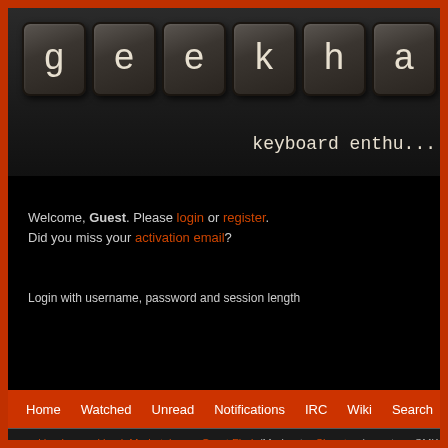[Figure (screenshot): Geekhack website header with keyboard keys spelling out 'gekhac' and subtitle 'keyboard enthu...']
Welcome, Guest. Please login or register. Did you miss your activation email?
Login with username, password and session length
Home  Watched  Unread  Notifications  IRC  Wiki  Search  Spy  Login
geekhack » geekhack Marketplace » Great Finds (Moderator: Signature) » got my SMK-